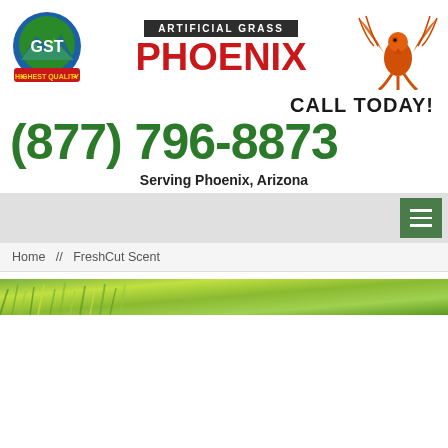[Figure (logo): GST Highest Quality logo on left, Artificial Grass Phoenix brand text in center, Phoenix bird logo on right]
CALL TODAY!
(877) 796-8873
Serving Phoenix, Arizona
[Figure (screenshot): Navigation bar with hamburger menu button in green]
Home  //  FreshCut Scent
[Figure (photo): Close-up photo strip of green artificial grass blades]